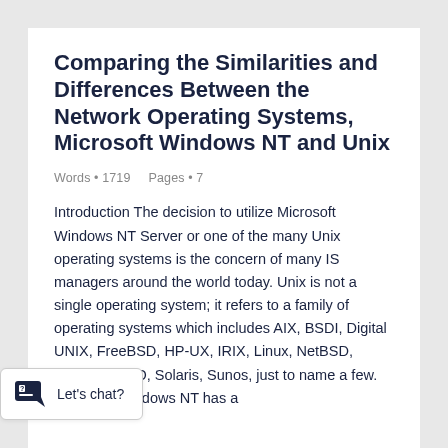Comparing the Similarities and Differences Between the Network Operating Systems, Microsoft Windows NT and Unix
Words • 1719    Pages • 7
Introduction The decision to utilize Microsoft Windows NT Server or one of the many Unix operating systems is the concern of many IS managers around the world today. Unix is not a single operating system; it refers to a family of operating systems which includes AIX, BSDI, Digital UNIX, FreeBSD, HP-UX, IRIX, Linux, NetBSD, Pyramid, SCO, Solaris, Sunos, just to name a few. Microsoft Windows NT has a